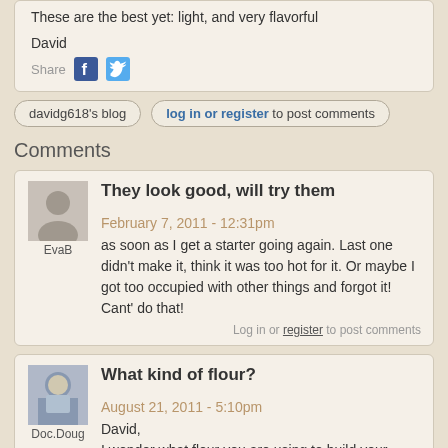These are the best yet: light, and very flavorful
David
Share
davidg618's blog
log in or register to post comments
Comments
They look good, will try them  February 7, 2011 - 12:31pm
as soon as I get a starter going again. Last one didn't make it, think it was too hot for it. Or maybe I got too occupied with other things and forgot it! Cant' do that!
Log in or register to post comments
What kind of flour?  August 21, 2011 - 5:10pm
David,
I wonder what flour you are using to build your levain. Biscuits, being a low gluten product, would probably be best done with AP flour for everything.  And I don't know what the overall effect would be if you went to a higher